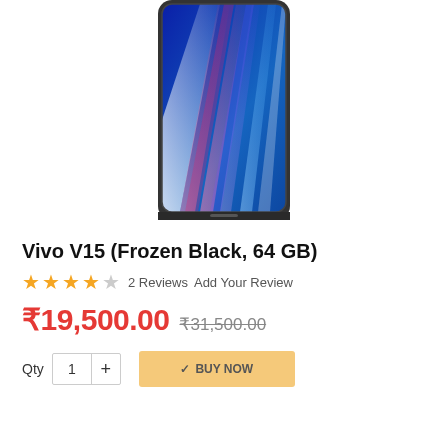[Figure (photo): Vivo V15 smartphone (Frozen Black) showing the front screen with colorful abstract light streaks wallpaper in blue, pink, and purple tones. The phone has a bezel-less display design.]
Vivo V15 (Frozen Black, 64 GB)
★★★★☆ 2 Reviews  Add Your Review
₹19,500.00 ₹31,500.00
Qty  1  +  BUY NOW